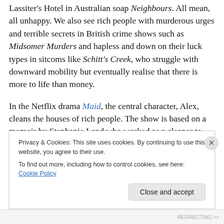Lassiter's Hotel in Australian soap Neighbours. All mean, all unhappy. We also see rich people with murderous urges and terrible secrets in British crime shows such as Midsomer Murders and hapless and down on their luck types in sitcoms like Schitt's Creek, who struggle with downward mobility but eventually realise that there is more to life than money.
In the Netflix drama Maid, the central character, Alex, cleans the houses of rich people. The show is based on a memoir by Stephanie Land who worked as a cleaner to put herself through college and wrote about the people
Privacy & Cookies: This site uses cookies. By continuing to use this website, you agree to their use.
To find out more, including how to control cookies, see here: Cookie Policy